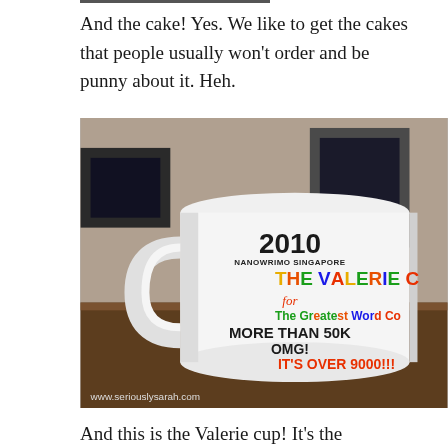And the cake! Yes. We like to get the cakes that people usually won't order and be punny about it. Heh.
[Figure (photo): A white ceramic mug on a wooden table. The mug reads '2010 NANOWRIMO SINGAPORE', 'THE VALERIE C[UP]', 'for The Greatest Word Co[unt]', 'MORE THAN 50K', 'OMG!', 'IT'S OVER 9000[!!!]' in colorful text. Website watermark: www.seriouslysarah.com]
And this is the Valerie cup! It's the traditional prize for whoever has the most number of words and is at the party to collect it. Yeah. For every cup, we had to